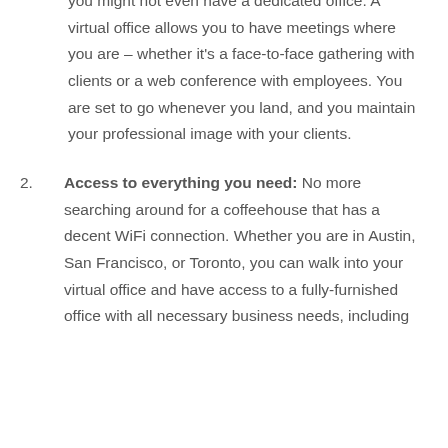you might not even have a dedicated office. A virtual office allows you to have meetings where you are – whether it's a face-to-face gathering with clients or a web conference with employees. You are set to go whenever you land, and you maintain your professional image with your clients.
2. Access to everything you need: No more searching around for a coffeehouse that has a decent WiFi connection. Whether you are in Austin, San Francisco, or Toronto, you can walk into your virtual office and have access to a fully-furnished office with all necessary business needs, including